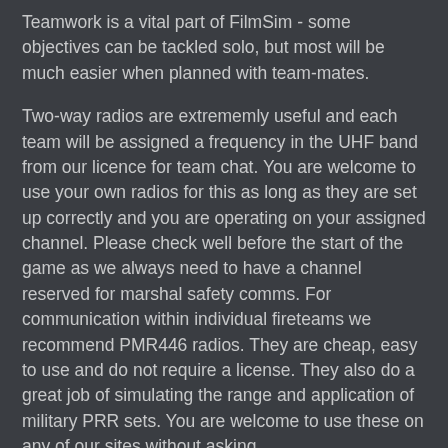Teamwork is a vital part of FilmSim - some objectives can be tackled solo, but most will be much easier when planned with team-mates.
Two-way radios are extrememly useful and each team will be assigned a frequency in the UHF band from our licence for team chat. You are welcome to use your own radios for this as long as they are set up correctly and you are operating on your assigned channel. Please check well before the start of the game as we always need to have a channel reserved for marshal safety comms. For communication within individual fireteams we recommend PMR446 radios. They are cheap, easy to use and do not require a license. They also do a great job of simulating the range and application of military PRR sets. You are welcome to use these on any of our sites without asking.
We prefer to use camouflage to identify teams where possible so it's always helpful if players can bring more